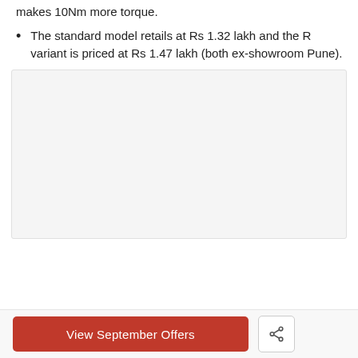makes 10Nm more torque.
The standard model retails at Rs 1.32 lakh and the R variant is priced at Rs 1.47 lakh (both ex-showroom Pune).
[Figure (photo): Placeholder image area, light grey background]
View September Offers